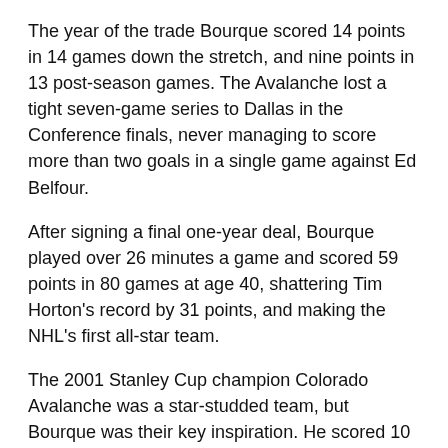The year of the trade Bourque scored 14 points in 14 games down the stretch, and nine points in 13 post-season games. The Avalanche lost a tight seven-game series to Dallas in the Conference finals, never managing to score more than two goals in a single game against Ed Belfour.
After signing a final one-year deal, Bourque played over 26 minutes a game and scored 59 points in 80 games at age 40, shattering Tim Horton's record by 31 points, and making the NHL's first all-star team.
The 2001 Stanley Cup champion Colorado Avalanche was a star-studded team, but Bourque was their key inspiration. He scored 10 points in 21 games while playing almost 30 minutes per game throughout the post-season.
Things also wo[Previous][Next]s. Not only did they get to see their favorite son finally hoist a Stanley